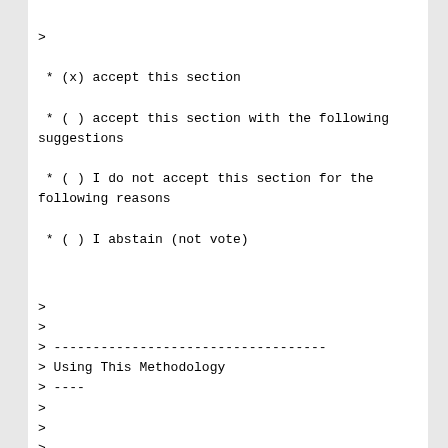>
* (x) accept this section
* ( ) accept this section with the following suggestions
* ( ) I do not accept this section for the following reasons
* ( ) I abstain (not vote)
>
>
> -----------------------------------
> Using This Methodology
> ----
>
>
>
* (x) accept this section
* ( ) accept this section with the following suggestions
* ( ) I do not accept this section for the following reasons
* ( ) I abstain (not vote)